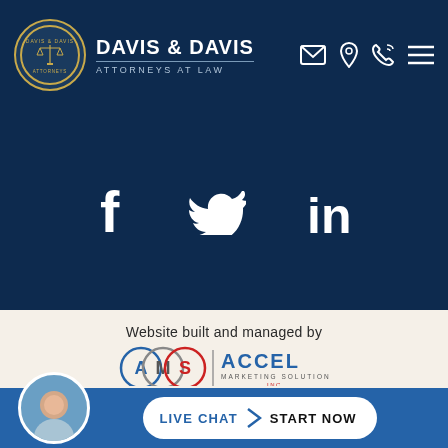Davis & Davis Attorneys at Law
[Figure (logo): Davis & Davis circular seal logo with scales of justice]
[Figure (infographic): Social media icons: Facebook, Twitter, LinkedIn on dark navy background]
Website built and managed by
[Figure (logo): AMS Accel Marketing Solutions Inc. logo]
© 2022 Davis & Davis, Attorneys at Law. All Rights Reserved.
Disclaimer | Sitemap | Privacy Policy
LIVE CHAT START NOW